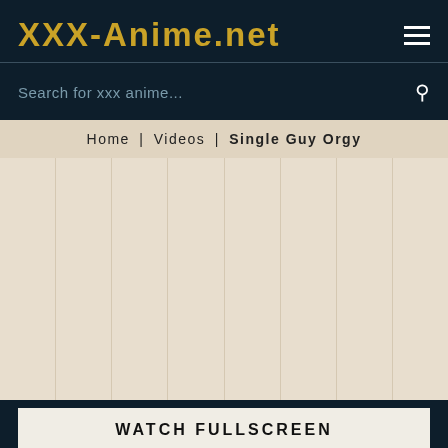XXX-Anime.net
Search for xxx anime...
Home | Videos | Single Guy Orgy
[Figure (screenshot): Video player area with beige/tan striped background, content loading state]
WATCH FULLSCREEN